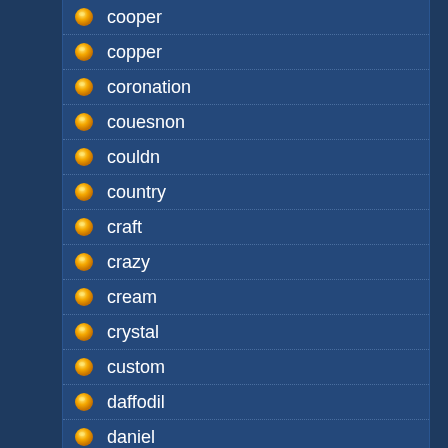cooper
copper
coronation
couesnon
couldn
country
craft
crazy
cream
crystal
custom
daffodil
daniel
danish
davco